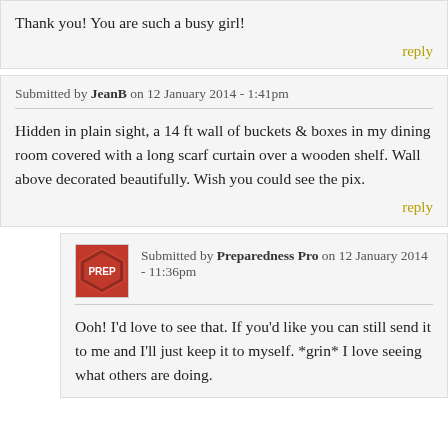Thank you! You are such a busy girl!
reply
Submitted by JeanB on 12 January 2014 - 1:41pm
Hidden in plain sight, a 14 ft wall of buckets & boxes in my dining room covered with a long scarf curtain over a wooden shelf. Wall above decorated beautifully. Wish you could see the pix.
reply
Submitted by Preparedness Pro on 12 January 2014 - 11:36pm
Ooh! I'd love to see that. If you'd like you can still send it to me and I'll just keep it to myself. *grin* I love seeing what others are doing.